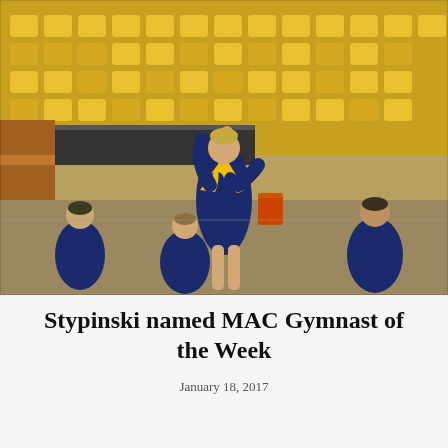[Figure (photo): A female gymnast in a navy and gold long-sleeve leotard performs on the floor, one arm raised, at a gymnasium with yellow bleacher seats in the background. Other gymnasts in matching uniforms are seated in the background.]
Stypinski named MAC Gymnast of the Week
January 18, 2017